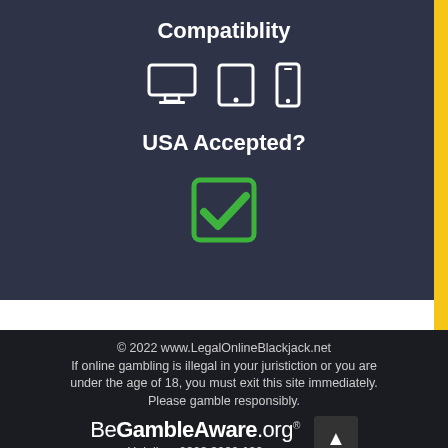Compatiblity
[Figure (illustration): Three device icons: desktop monitor, tablet, and mobile phone, shown in white outline style]
USA Accepted?
[Figure (illustration): Green checkbox/checkmark icon indicating yes]
© 2022 www.LegalOnlineBlackjack.net If online gambling is illegal in your juristiction or you are under the age of 18, you must exit this site immediately. Please gamble responsibly. BeGambleAware.org ® Helpline: 0808 8020 133